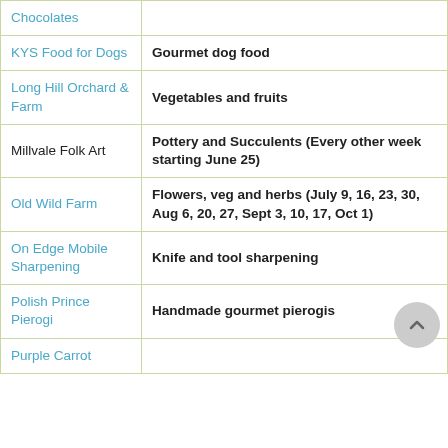| Vendor | Products |
| --- | --- |
| Chocolates |  |
| KYS Food for Dogs | Gourmet dog food |
| Long Hill Orchard & Farm | Vegetables and fruits |
| Millvale Folk Art | Pottery and Succulents (Every other week starting June 25) |
| Old Wild Farm | Flowers, veg and herbs (July 9, 16, 23, 30, Aug 6, 20, 27, Sept 3, 10, 17, Oct 1) |
| On Edge Mobile Sharpening | Knife and tool sharpening |
| Polish Prince Pierogi | Handmade gourmet pierogis |
| Purple Carrot |  |